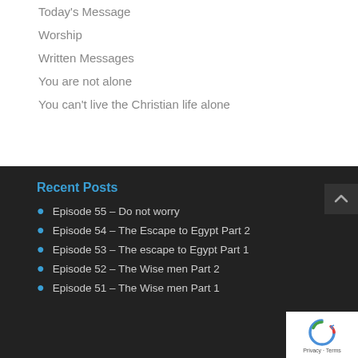Today's Message
Worship
Written Messages
You are not alone
You can't live the Christian life alone
Recent Posts
Episode 55 – Do not worry
Episode 54 – The Escape to Egypt Part 2
Episode 53 – The escape to Egypt Part 1
Episode 52 – The Wise men Part 2
Episode 51 – The Wise men Part 1